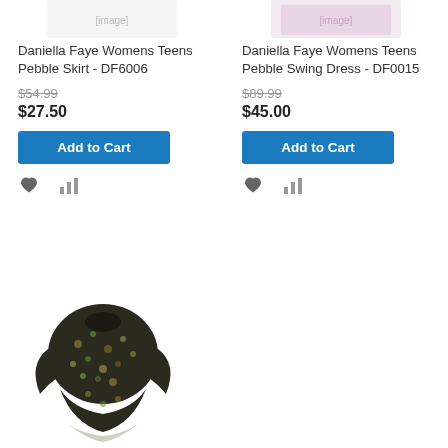[Figure (photo): Partial view of Daniella Faye Womens Teens Pebble Skirt product image (top cropped)]
Daniella Faye Womens Teens Pebble Skirt - DF6006
$54.99
$27.50
Add to Cart
[Figure (photo): Partial view of Daniella Faye Womens Teens Pebble Swing Dress product image (top cropped)]
Daniella Faye Womens Teens Pebble Swing Dress - DF0015
$89.99
$45.00
Add to Cart
[Figure (photo): Daniella Faye Floral Teens/Womens Top - DF0016, dark floral print long sleeve tunic top]
Daniella Faye Floral Teens/Womens Top - DF0016